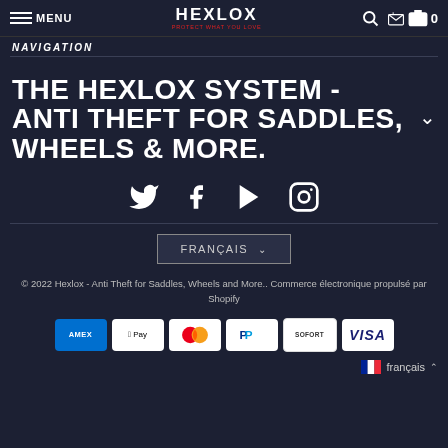MENU | HEXLOX PROTECT WHAT YOU LOVE | 🔍 🛒 0
NAVIGATION
THE HEXLOX SYSTEM - ANTI THEFT FOR SADDLES, WHEELS & MORE.
[Figure (other): Social media icons: Twitter, Facebook, YouTube, Instagram]
FRANÇAIS
© 2022 Hexlox - Anti Theft for Saddles, Wheels and More.. Commerce électronique propulsé par Shopify
[Figure (other): Payment method icons: AMEX, Apple Pay, Mastercard, PayPal, SOFORT, Visa]
français